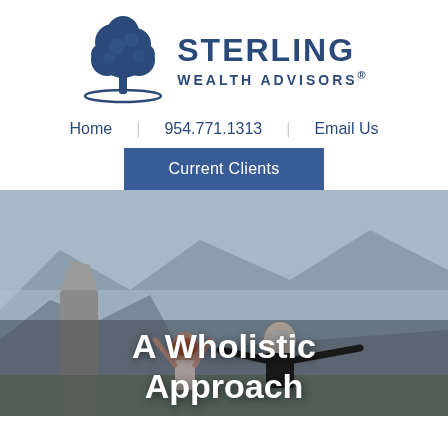[Figure (logo): Sterling Wealth Advisors logo with blue tree illustration and company name in dark blue serif lettering]
Home   954.771.1313   Email Us
Current Clients
[Figure (photo): Two people with arms raised standing on a rocky mountain overlook with mountain range in background, mist in distance]
A Wholistic Approach